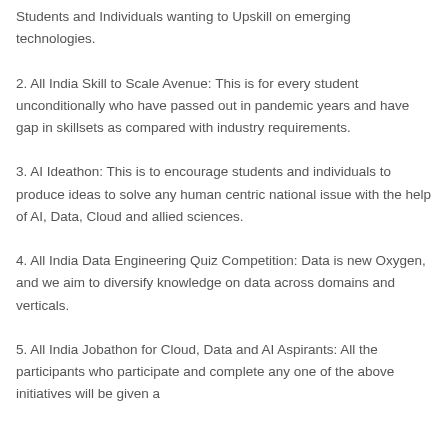Students and Individuals wanting to Upskill on emerging technologies.
2. All India Skill to Scale Avenue: This is for every student unconditionally who have passed out in pandemic years and have gap in skillsets as compared with industry requirements.
3. AI Ideathon: This is to encourage students and individuals to produce ideas to solve any human centric national issue with the help of AI, Data, Cloud and allied sciences.
4. All India Data Engineering Quiz Competition: Data is new Oxygen, and we aim to diversify knowledge on data across domains and verticals.
5. All India Jobathon for Cloud, Data and AI Aspirants: All the participants who participate and complete any one of the above initiatives will be given a